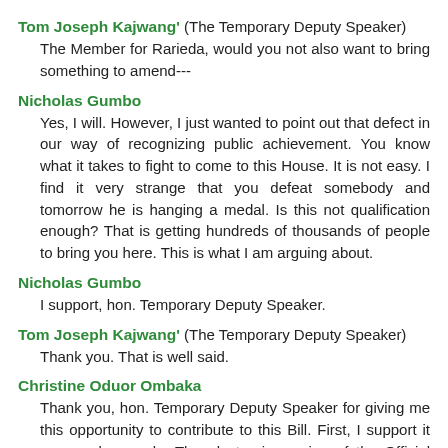Tom Joseph Kajwang' (The Temporary Deputy Speaker)
The Member for Rarieda, would you not also want to bring something to amend---
Nicholas Gumbo
Yes, I will. However, I just wanted to point out that defect in our way of recognizing public achievement. You know what it takes to fight to come to this House. It is not easy. I find it very strange that you defeat somebody and tomorrow he is hanging a medal. Is this not qualification enough? That is getting hundreds of thousands of people to bring you here. This is what I am arguing about.
Nicholas Gumbo
I support, hon. Temporary Deputy Speaker.
Tom Joseph Kajwang' (The Temporary Deputy Speaker)
Thank you. That is well said.
Christine Oduor Ombaka
Thank you, hon. Temporary Deputy Speaker for giving me this opportunity to contribute to this Bill. First, I support it on moral grounds. The electronic version of the Official Hansard Report is